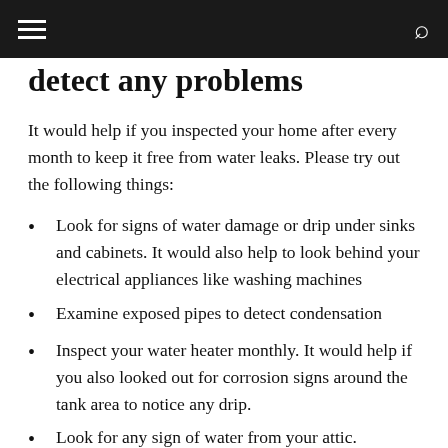≡  [navigation]  🔍
detect any problems
It would help if you inspected your home after every month to keep it free from water leaks. Please try out the following things:
Look for signs of water damage or drip under sinks and cabinets. It would also help to look behind your electrical appliances like washing machines
Examine exposed pipes to detect condensation
Inspect your water heater monthly. It would help if you also looked out for corrosion signs around the tank area to notice any drip.
Look for any sign of water from your attic.
Most people overlook these small and proactive tips, but they go a long way to prevent big issues. This saves you